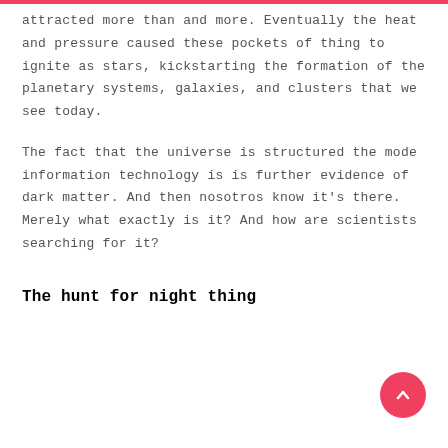attracted more than and more. Eventually the heat and pressure caused these pockets of thing to ignite as stars, kickstarting the formation of the planetary systems, galaxies, and clusters that we see today.
The fact that the universe is structured the mode information technology is is further evidence of dark matter. And then nosotros know it's there. Merely what exactly is it? And how are scientists searching for it?
The hunt for night thing